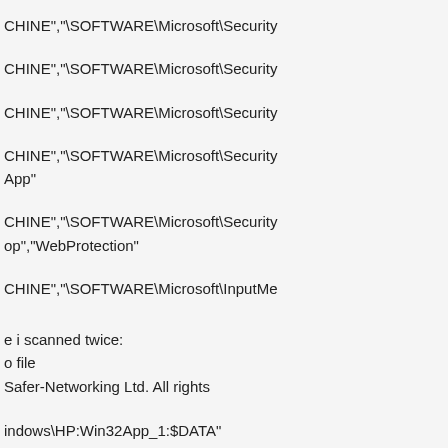CHINE","\SOFTWARE\Microsoft\Security
CHINE","\SOFTWARE\Microsoft\Security
CHINE","\SOFTWARE\Microsoft\Security
CHINE","\SOFTWARE\Microsoft\Security
App"
CHINE","\SOFTWARE\Microsoft\Security
op","WebProtection"
CHINE","\SOFTWARE\Microsoft\InputMe
e i scanned twice:
o file
Safer-Networking Ltd. All rights
indows\HP:Win32App_1:$DATA"
\Windows\Temp\ZLT01364.TMP"
OW64\Adobe:Win32App_1:$DATA"